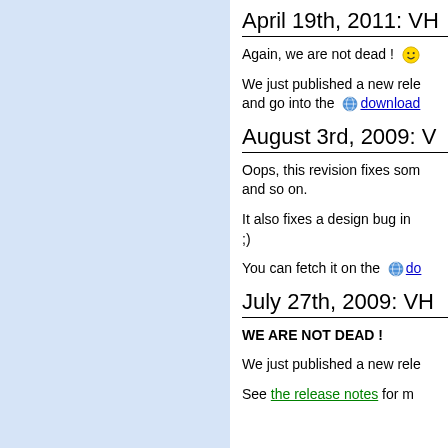April 19th, 2011: VH...
Again, we are not dead ! 😊
We just published a new rele... and go into the 🌐 download...
August 3rd, 2009: V...
Oops, this revision fixes som... and so on.
It also fixes a design bug in... ;)
You can fetch it on the 🌐 do...
July 27th, 2009: VH...
WE ARE NOT DEAD !
We just published a new rele...
See the release notes for m...